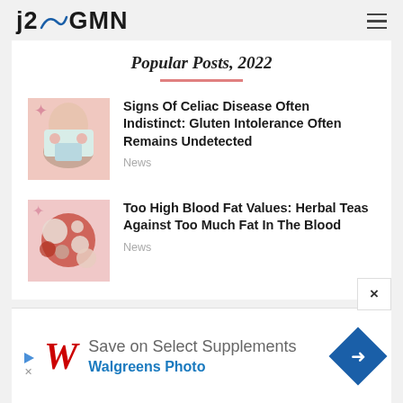j2GMN
Popular Posts, 2022
[Figure (photo): Thumbnail image for celiac disease post showing person holding abdomen]
Signs Of Celiac Disease Often Indistinct: Gluten Intolerance Often Remains Undetected
News
[Figure (photo): Thumbnail image for blood fat post showing red and white cells/spheres on pink background]
Too High Blood Fat Values: Herbal Teas Against Too Much Fat In The Blood
News
[Figure (photo): Advertisement banner: Walgreens - Save on Select Supplements, Walgreens Photo]